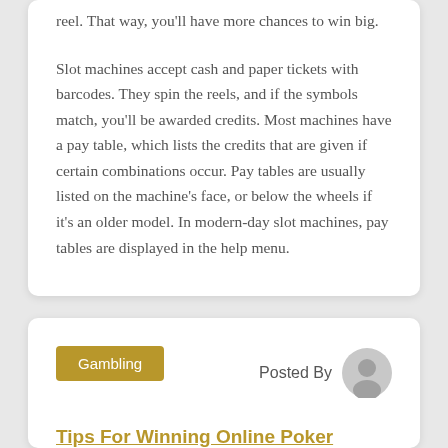reel. That way, you'll have more chances to win big.
Slot machines accept cash and paper tickets with barcodes. They spin the reels, and if the symbols match, you'll be awarded credits. Most machines have a pay table, which lists the credits that are given if certain combinations occur. Pay tables are usually listed on the machine's face, or below the wheels if it's an older model. In modern-day slot machines, pay tables are displayed in the help menu.
Gambling
Posted By
Tips For Winning Online Poker